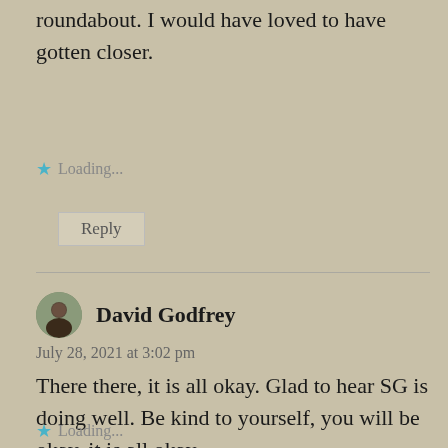roundabout. I would have loved to have gotten closer.
Loading...
Reply
David Godfrey
July 28, 2021 at 3:02 pm
There there, it is all okay. Glad to hear SG is doing well. Be kind to yourself, you will be okay, it is all okay.
Loading...